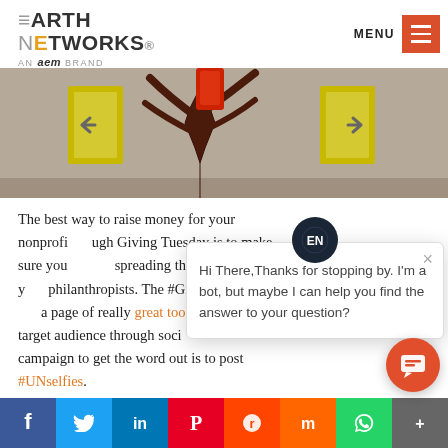Earth Networks — AN aem BRAND | MENU
[Figure (illustration): Decorative illustration of a dark brown tree on a beige/gray wall with yellow framed pictures on either side]
The best way to raise money for your nonprofit through Giving Tuesday is to make sure you spreading the word to both your current and potential philanthropists. The #GivingTu... a page of really great toolkits... target audience through soci... campaign to get the word out is to post #UNselfies.
[Figure (screenshot): Chat bot popup: avatar with EN logo, close button X, message: Hi There, Thanks for stopping by. I'm a bot, but maybe I can help you find the answer to your question?]
[Figure (other): Orange circular chat FAB button with speech bubble icon]
Facebook | Twitter | LinkedIn | Pinterest | Reddit | Mix | WhatsApp | More